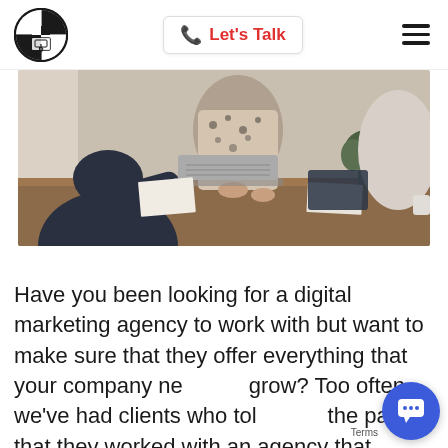[Figure (logo): Circular logo with crosshair/compass design, letters W, O, D arranged inside circle with black background segments]
Let's Talk
[Figure (photo): Office meeting scene: people sitting at a wooden table with a laptop, papers, and a plant in the background. Shot from above-side angle showing hands and upper bodies.]
Have you been looking for a digital marketing agency to work with but want to make sure that they offer everything that your company need to grow? Too often, we've had clients who told in the past, that they worked with an agency that